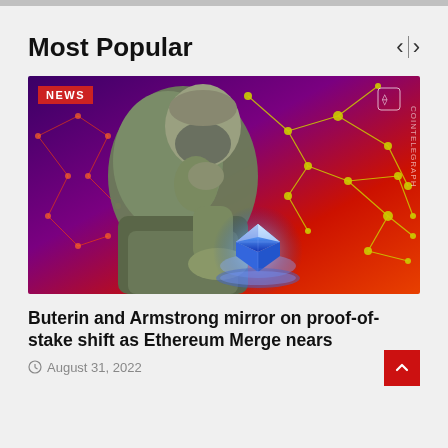Most Popular
[Figure (illustration): Illustration of a thinker statue (like The Thinker) in green/gray tones, holding a glowing Ethereum diamond logo, set against a red-purple blockchain network background. A 'NEWS' badge appears in the top left. Cointelegraph logo text appears vertically on the right side.]
Buterin and Armstrong mirror on proof-of-stake shift as Ethereum Merge nears
August 31, 2022